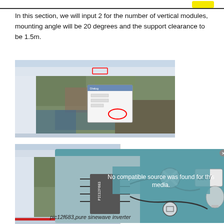In this section, we will input 2 for the number of vertical modules, mounting angle will be 20 degrees and the support clearance to be 1.5m.
[Figure (screenshot): Screenshot of solar PV design software showing satellite map view with a dialog box open, red highlighted UI elements indicating input fields for module configuration.]
[Figure (screenshot): Screenshot of solar PV design software overlaid with a circuit diagram video player showing 'No compatible source was found for this media.' error with an X button, overlaid on a circuit schematic (PIC12F683) connected to a 220V lamp. Caption: pic12f683 pure sinewave inverter.]
pic12f683,pure sinewave inverter